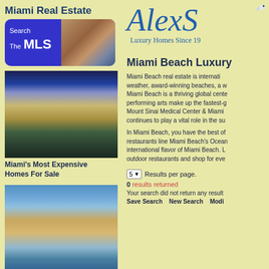Miami Real Estate
[Figure (screenshot): Blue rounded button with Search The MLS text and a property photo]
[Figure (photo): Luxury mansion with reflection pool at dusk]
Miami's Most Expensive Homes For Sale
[Figure (photo): Waterfront home with palm trees and blue sky]
Miami Homes For Sale
[Figure (logo): AlexS logo with bird, Luxury Homes Since 19...]
Miami Beach Luxury
Miami Beach real estate is internati... weather, award-winning beaches, a w... Miami Beach is a thriving global cente... performing arts make up the fastest-g... Mount Sinai Medical Center & Miami... continues to play a vital role in the su...
In Miami Beach, you have the best of... restaurants line Miami Beach's Ocean... international flavor of Miami Beach. L... outdoor restaurants and shop for eve...
5 Results per page.
0 results returned
Your search did not return any result...
Save Search    New Search    Modi...